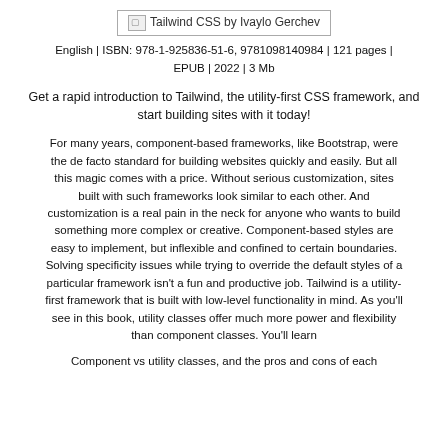[Figure (other): Book cover image placeholder labeled 'Tailwind CSS by Ivaylo Gerchev' inside a bordered box]
English | ISBN: 978-1-925836-51-6, 9781098140984 | 121 pages | EPUB | 2022 | 3 Mb
Get a rapid introduction to Tailwind, the utility-first CSS framework, and start building sites with it today!
For many years, component-based frameworks, like Bootstrap, were the de facto standard for building websites quickly and easily. But all this magic comes with a price. Without serious customization, sites built with such frameworks look similar to each other. And customization is a real pain in the neck for anyone who wants to build something more complex or creative. Component-based styles are easy to implement, but inflexible and confined to certain boundaries. Solving specificity issues while trying to override the default styles of a particular framework isn't a fun and productive job. Tailwind is a utility-first framework that is built with low-level functionality in mind. As you'll see in this book, utility classes offer much more power and flexibility than component classes. You'll learn
Component vs utility classes, and the pros and cons of each